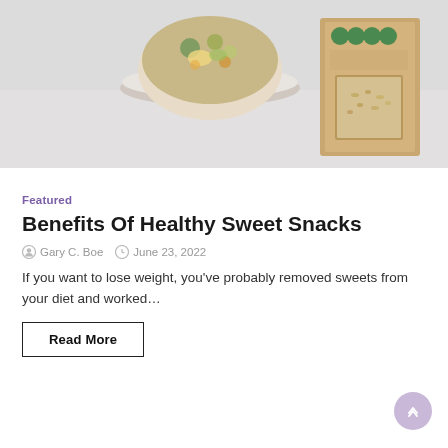[Figure (photo): Photo of a bowl of healthy food (salad/grain bowl) on a white plate with a kraft paper food package box visible on the right side, on a light grey surface]
Featured
Benefits Of Healthy Sweet Snacks
Gary C. Boe   June 23, 2022
If you want to lose weight, you've probably removed sweets from your diet and worked…
Read More